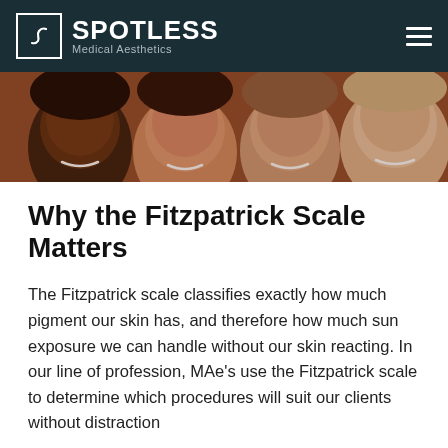SPOTLESS Medical Aesthetics
[Figure (photo): Header photo showing four women with diverse skin tones smiling closely together against a brown/terracotta background]
Why the Fitzpatrick Scale Matters
The Fitzpatrick scale classifies exactly how much pigment our skin has, and therefore how much sun exposure we can handle without our skin reacting. In our line of profession, MAe's use the Fitzpatrick scale to determine which procedures will suit our clients without distraction